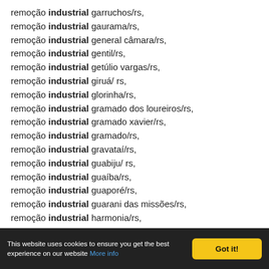remoção industrial garruchos/rs,
remoção industrial gaurama/rs,
remoção industrial general câmara/rs,
remoção industrial gentil/rs,
remoção industrial getúlio vargas/rs,
remoção industrial giruá/ rs,
remoção industrial glorinha/rs,
remoção industrial gramado dos loureiros/rs,
remoção industrial gramado xavier/rs,
remoção industrial gramado/rs,
remoção industrial gravataí/rs,
remoção industrial guabiju/ rs,
remoção industrial guaíba/rs,
remoção industrial guaporé/rs,
remoção industrial guarani das missões/rs,
remoção industrial harmonia/rs,
remoção industrial herval/rs,
(partial, cut off)
This website uses cookies to ensure you get the best experience on our website More info | Got it!